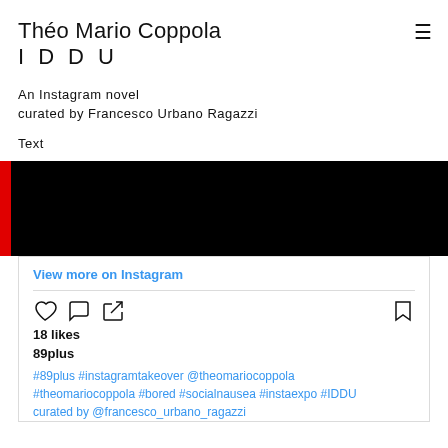Théo Mario Coppola
I D D U
An Instagram novel
curated by Francesco Urbano Ragazzi
Text
[Figure (photo): Black image with red stripe on left side, partially cropped — appears to be an Instagram post image]
View more on Instagram
18 likes
89plus
#89plus #instagramtakeover @theomariocoppola #theomariocoppola #bored #socialnausea #instaexpo #IDDU curated by @francesco_urbano_ragazzi